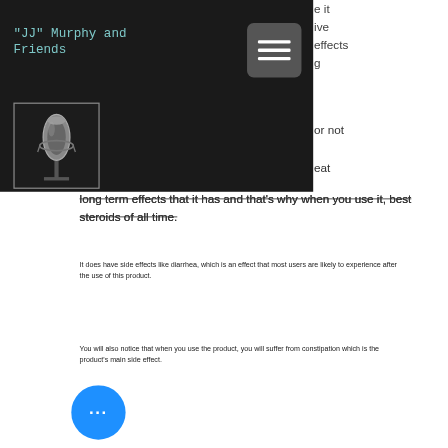"JJ" Murphy and Friends
[Figure (photo): Studio microphone in dark setting, thumbnail image in header]
long term effects that it has and that's why when you use it, best steroids of all time.
It does have side effects like diarrhea, which is an effect that most users are likely to experience after the use of this product.
You will also notice that when you use the product, you will suffer from constipation which is the product's main side effect.
Long lasting: